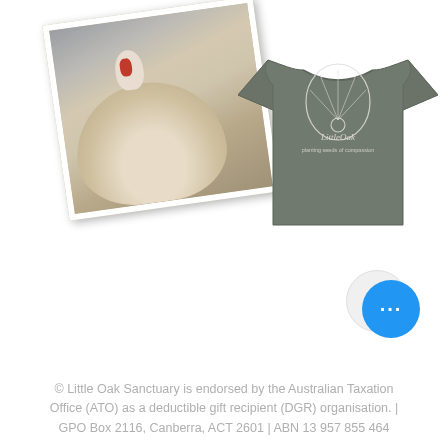[Figure (photo): A tilted/rotated photo card showing a white turkey with a red wattle against a light background, overlapping with a grey t-shirt displaying the Little Oak Sanctuary logo on the back.]
[Figure (illustration): A grey t-shirt showing the back with a white illustrated design of a bird (turkey/peacock with feathered plumage) and the text 'Little Oak' with cursive subtitle 'planting seeds of compassion'.]
[Figure (other): A circular scroll-up navigation button with an upward-pointing chevron arrow, light grey background.]
[Figure (other): A blue circular chat/messaging button with three white dots (ellipsis).]
© Little Oak Sanctuary is endorsed by the Australian Taxation Office (ATO) as a deductible gift recipient (DGR) organisation. | GPO Box 2116, Canberra, ACT 2601 | ABN 13 957 855 464